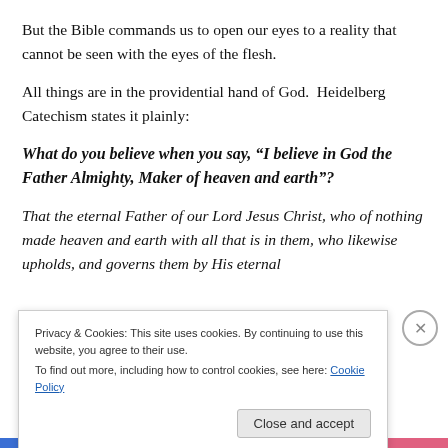But the Bible commands us to open our eyes to a reality that cannot be seen with the eyes of the flesh.
All things are in the providential hand of God.  Heidelberg Catechism states it plainly:
What do you believe when you say, “I believe in God the Father Almighty, Maker of heaven and earth”?
That the eternal Father of our Lord Jesus Christ, who of nothing made heaven and earth with all that is in them, who likewise upholds, and governs them by His eternal
Privacy & Cookies: This site uses cookies. By continuing to use this website, you agree to their use.
To find out more, including how to control cookies, see here: Cookie Policy
Close and accept